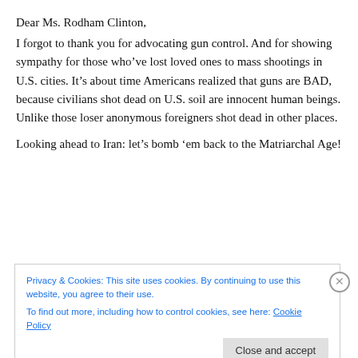Dear Ms. Rodham Clinton,
I forgot to thank you for advocating gun control. And for showing sympathy for those who’ve lost loved ones to mass shootings in U.S. cities. It’s about time Americans realized that guns are BAD, because civilians shot dead on U.S. soil are innocent human beings. Unlike those loser anonymous foreigners shot dead in other places.
Looking ahead to Iran: let’s bomb ’em back to the Matriarchal Age!
Privacy & Cookies: This site uses cookies. By continuing to use this website, you agree to their use.
To find out more, including how to control cookies, see here: Cookie Policy
Close and accept